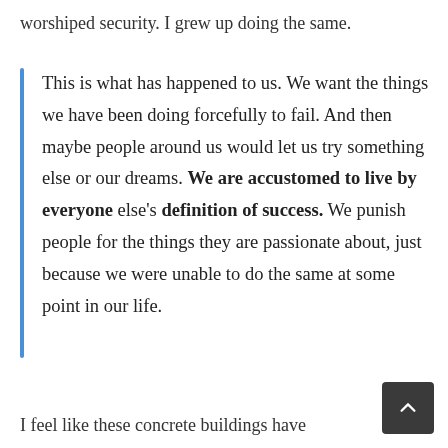worshiped security. I grew up doing the same.
This is what has happened to us. We want the things we have been doing forcefully to fail. And then maybe people around us would let us try something else or our dreams. We are accustomed to live by everyone else's definition of success. We punish people for the things they are passionate about, just because we were unable to do the same at some point in our life.
I feel like these concrete buildings have